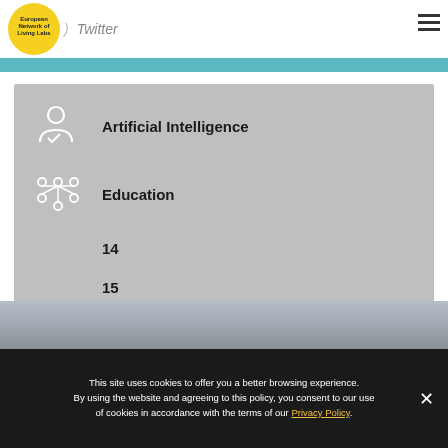[Figure (logo): European Network of Living Labs yellow circle logo]
Twitter
Artificial Intelligence
Education
14
15
[Figure (photo): Photo strip at bottom of page]
This site uses cookies to offer you a better browsing experience. By using the website and agreeing to this policy, you consent to our use of cookies in accordance with the terms of our Privacy Policy.